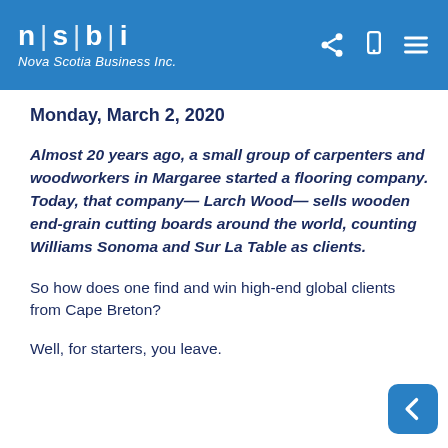n | s | b | i  Nova Scotia Business Inc.
Monday, March 2, 2020
Almost 20 years ago, a small group of carpenters and woodworkers in Margaree started a flooring company. Today, that company— Larch Wood— sells wooden end-grain cutting boards around the world, counting Williams Sonoma and Sur La Table as clients.
So how does one find and win high-end global clients from Cape Breton?
Well, for starters, you leave.